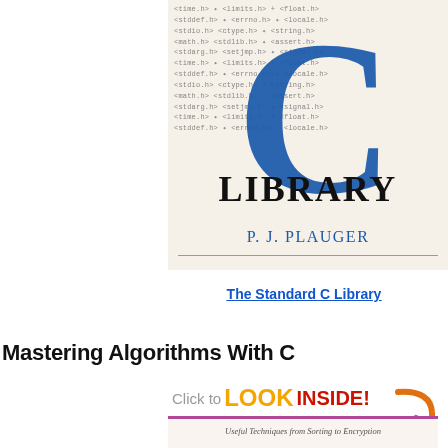[Figure (illustration): Book cover of 'The Standard C Library' by P.J. Plauger, featuring a large blue letter C overlaid on repeating C header file names (time.h, limits.h, float.h, stddef.h, locale.h, stdio.h, ctype.h, string.h, math.h, stdlib.h, assert.h, stdarg.h, setjmp.h, signal.h, errno.h), with 'LIBRARY' in large serif text and 'P. J. PLAUGER' in blue italic below.]
The Standard C Library
Mastering Algorithms With C
[Figure (screenshot): Partial book cover showing 'Click to LOOK INSIDE!' banner with orange arrow, and the subtitle 'Useful Techniques from Sorting to Encryption'.]